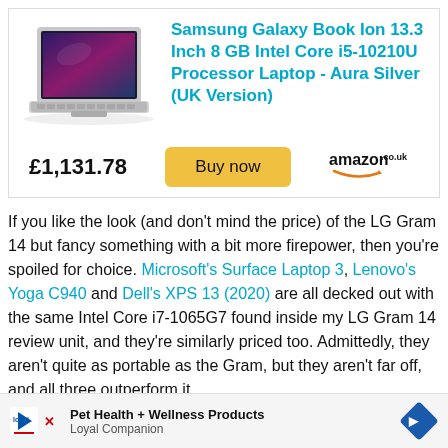[Figure (photo): Samsung Galaxy Book Ion laptop product photo - silver laptop open showing screen]
Samsung Galaxy Book Ion 13.3 Inch 8 GB Intel Core i5-10210U Processor Laptop - Aura Silver (UK Version)
£1,131.78
Buy now
[Figure (logo): amazon.co.uk logo]
If you like the look (and don't mind the price) of the LG Gram 14 but fancy something with a bit more firepower, then you're spoiled for choice. Microsoft's Surface Laptop 3, Lenovo's Yoga C940 and Dell's XPS 13 (2020) are all decked out with the same Intel Core i7-1065G7 found inside my LG Gram 14 review unit, and they're similarly priced too. Admittedly, they aren't quite as portable as the Gram, but they aren't far off, and all three outperform it
[Figure (infographic): Loyal Companion - Pet Health + Wellness Products advertisement banner]